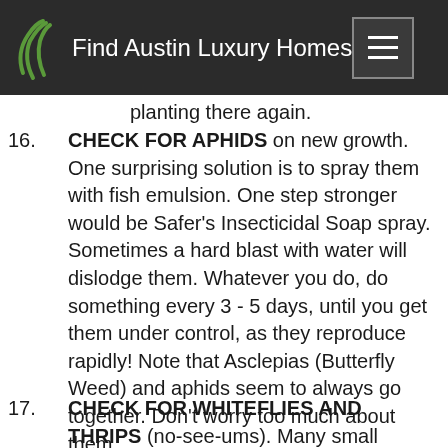Find Austin Luxury Homes
planting there again.
16. CHECK FOR APHIDS on new growth. One surprising solution is to spray them with fish emulsion. One step stronger would be Safer's Insecticidal Soap spray. Sometimes a hard blast with water will dislodge them. Whatever you do, do something every 3 - 5 days, until you get them under control, as they reproduce rapidly! Note that Asclepias (Butterfly Weed) and aphids seem to always go together. Don't worry too much about them.
17. CHECK FOR WHITEFLIES AND THRIPS (no-see-ums). Many small whiteflies will fly when a branch is bumped. Thrips are almost invisible, slender, pale tan-colored insects that attack blooms of roses especially, but also leaves and flowers of many plants. Thrips damage looks like the color has been